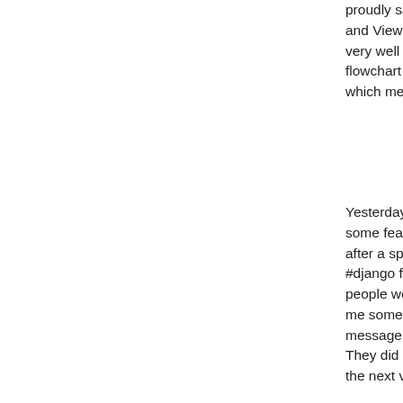proudly say that I'm pretty confident using List and View. The thing I like most at the Django very well documented. Therefore, I was able t flowchart for each of those classes. It's very ir which method gets called and when.
Yesterday I stumbled upon a tricky view. After some features stopped working, such as disp after a spell is bought. It crossed my mind to a #django freenode channel. I was surprised tha people were willing to share their knowledge v me some valuable suggestions. Eventually, I r message displaying issue with django messag They did exactly what I needed: store a mess the next view.
Another problem was paginating the view's re end implementation for it, but it lacked the fro created a template for paginating those results back end using the much simpler class-based easy as assigning a number to the the class' a paginate_by.
See you next post!
de badescunicu la 18 Ju